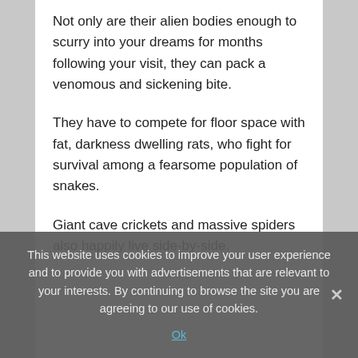Not only are their alien bodies enough to scurry into your dreams for months following your visit, they can pack a venomous and sickening bite.
They have to compete for floor space with fat, darkness dwelling rats, who fight for survival among a fearsome population of snakes.
Giant cave crickets and massive spiders also happily live side-by-side.
This website uses cookies to improve your user experience and to provide you with advertisements that are relevant to your interests. By continuing to browse the site you are agreeing to our use of cookies.